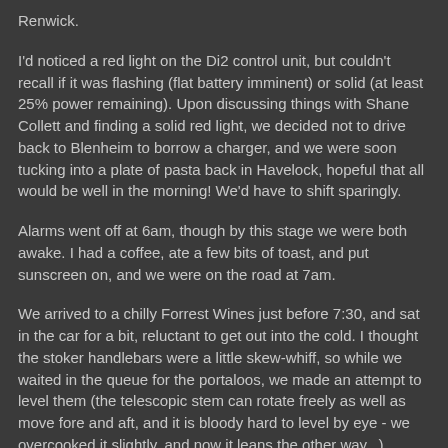Renwick.
I'd noticed a red light on the Di2 control unit, but couldn't recall if it was flashing (flat battery imminent) or solid (at least 25% power remaining).  Upon discussing things with Shane Collett and finding a solid red light, we decided not to drive back to Blenheim to borrow a charger, and we were soon tucking into a plate of pasta back in Havelock, hopeful that all would be well in the morning!  We'd have to shift sparingly.
Alarms went off at 6am, though by this stage we were both awake.  I had a coffee, ate a few bits of toast, and put sunscreen on, and we were on the road at 7am.
We arrived to a chilly Forrest Wines just before 7:30, and sat in the car for a bit, reluctant to get out into the cold.  I thought the stoker handlebars were a little skew-whiff, so while we waited in the queue for the portaloos, we made an attempt to level them (the telescopic stem can rotate freely as well as move fore and aft, and it is bloody hard to level by eye - we overcooked it slightly, and now it leans the other way...).